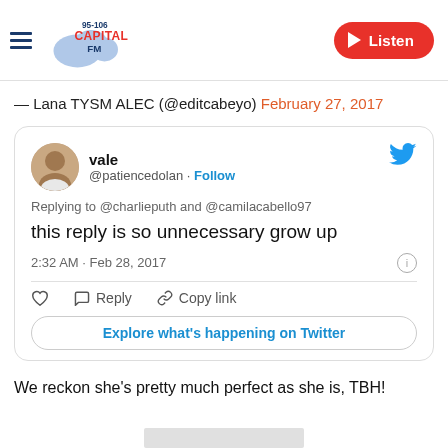95-106 Capital FM | Listen
— Lana TYSM ALEC (@editcabeyo) February 27, 2017
[Figure (screenshot): Embedded tweet from @patiencedolan saying 'this reply is so unnecessary grow up', replying to @charlieputh and @camilacabello97, posted 2:32 AM · Feb 28, 2017, with Follow link and Explore what's happening on Twitter button]
We reckon she's pretty much perfect as she is, TBH!